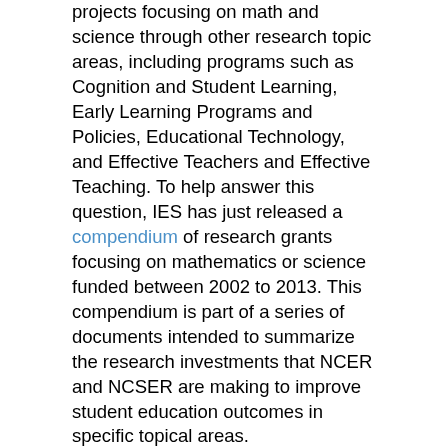projects focusing on math and science through other research topic areas, including programs such as Cognition and Student Learning, Early Learning Programs and Policies, Educational Technology, and Effective Teachers and Effective Teaching. To help answer this question, IES has just released a compendium of research grants focusing on mathematics or science funded between 2002 to 2013. This compendium is part of a series of documents intended to summarize the research investments that NCER and NCSER are making to improve student education outcomes in specific topical areas.
As noted in the compendium, between 2002 to 2013, NCER and NCSER has funded over 300 projects focused on mathematics or science education, with 215 of them being instructional interventions (e.g., packaged curricula, intervention frameworks, and instructional approaches), 75 professional development programs, 165 educational technologies, and 65 assessments in math and science. The math and science